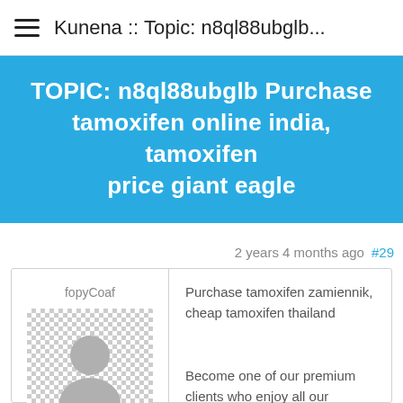Kunena :: Topic: n8ql88ubglb...
TOPIC: n8ql88ubglb Purchase tamoxifen online india, tamoxifen price giant eagle
2 years 4 months ago  #29
fopyCoaf
Purchase tamoxifen zamiennik, cheap tamoxifen thailand

Become one of our premium clients who enjoy all our privileges and save huge money